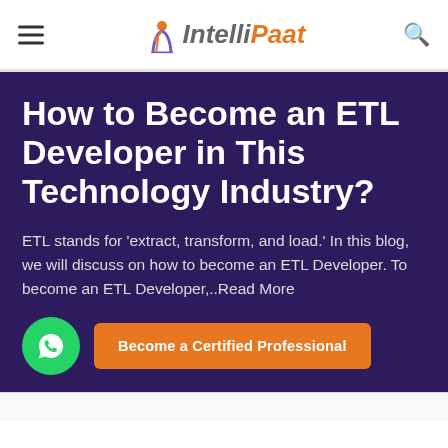IntelliPaat
How to Become an ETL Developer in This Technology Industry?
ETL stands for 'extract, transform, and load.' In this blog, we will discuss on how to become an ETL Developer. To become an ETL Developer,..Read More
[Figure (logo): WhatsApp chat button icon, green circle with white phone/chat logo]
Become a Certified Professional